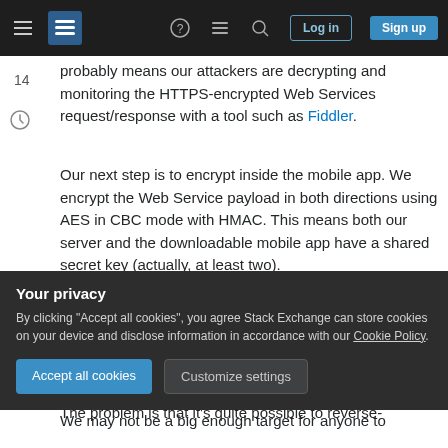Stack Exchange navigation bar with hamburger menu, logo, help, chat, search icons, Log in and Sign up buttons
probably means our attackers are decrypting and monitoring the HTTPS-encrypted Web Services request/response with a tool such as Fiddler.
Our next step is to encrypt inside the mobile app. We encrypt the Web Service payload in both directions using AES in CBC mode with HMAC. This means both our server and the downloadable mobile app have a shared secret key (actually, at least two).
The problem is that it's quite possible to reverse-
Your privacy
By clicking "Accept all cookies", you agree Stack Exchange can store cookies on your device and disclose information in accordance with our Cookie Policy.
Accept all cookies   Customize settings
We may not be a big enough target for anyone to